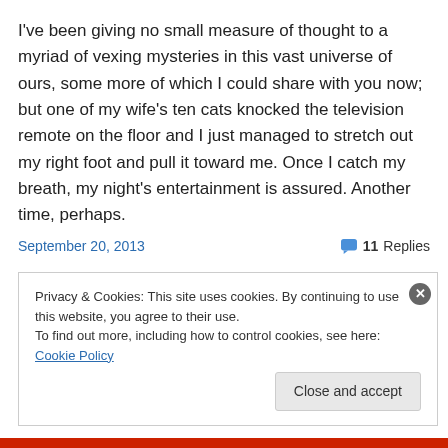I've been giving no small measure of thought to a myriad of vexing mysteries in this vast universe of ours, some more of which I could share with you now; but one of my wife's ten cats knocked the television remote on the floor and I just managed to stretch out my right foot and pull it toward me. Once I catch my breath, my night's entertainment is assured. Another time, perhaps.
September 20, 2013   💬 11 Replies
Privacy & Cookies: This site uses cookies. By continuing to use this website, you agree to their use. To find out more, including how to control cookies, see here: Cookie Policy
Close and accept